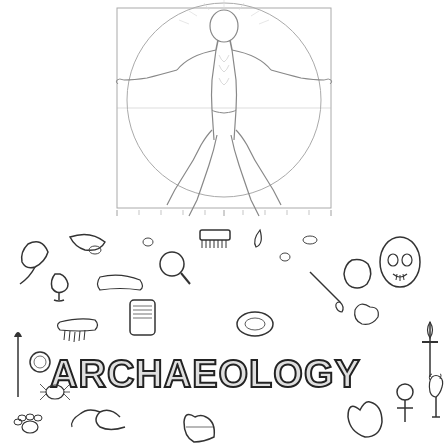[Figure (illustration): Vitruvian Man style anatomical illustration: a human figure in pen/pencil line-art style, inscribed in a square with a circle overlapping, showing the classic proportions diagram. The figure is shown frontally with arms outstretched and legs slightly spread. The style is a simplified/coloring-book version of Leonardo da Vinci's Vitruvian Man.]
[Figure (illustration): Archaeology-themed illustration collage with the word 'ARCHAEOLOGY' in decorative lettering at the center-bottom. Surrounding the text are numerous hand-drawn archaeological objects and artifacts: animal horns/drinking horns, a goblet/chalice, ancient combs, magnifying glass, brushes, scrolls, coins, pottery shards, a sword/dagger, an ankh symbol, a cat figurine (Egyptian style), ancient helmet/armor, human skull face/mask, boomerang shapes, ancient tools, bones, insects, beetles, birds (ibis-like), painted urns, paw prints, and other archaeological/ancient world items. All drawn in black and white line art style.]